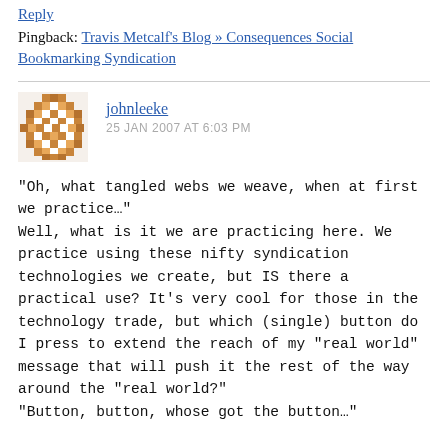Reply
Pingback: Travis Metcalf's Blog » Consequences Social Bookmarking Syndication
[Figure (illustration): Pixelated brown mosaic avatar icon for user johnleeke]
johnleeke
25 JAN 2007 AT 6:03 PM
“Oh, what tangled webs we weave, when at first we practice…”
Well, what is it we are practicing here. We practice using these nifty syndication technologies we create, but IS there a practical use? It's very cool for those in the technology trade, but which (single) button do I press to extend the reach of my “real world” message that will push it the rest of the way around the “real world?”
“Button, button, whose got the button…”